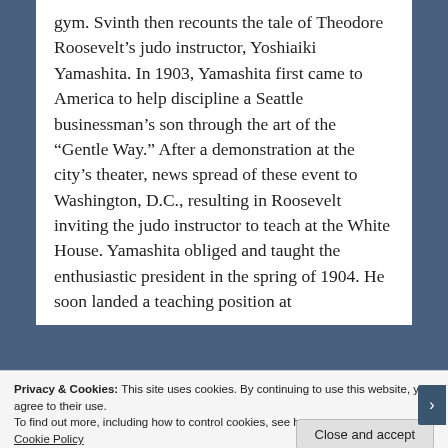gym. Svinth then recounts the tale of Theodore Roosevelt's judo instructor, Yoshiaiki Yamashita. In 1903, Yamashita first came to America to help discipline a Seattle businessman's son through the art of the "Gentle Way." After a demonstration at the city's theater, news spread of these event to Washington, D.C., resulting in Roosevelt inviting the judo instructor to teach at the White House. Yamashita obliged and taught the enthusiastic president in the spring of 1904. He soon landed a teaching position at
Privacy & Cookies: This site uses cookies. By continuing to use this website, you agree to their use.
To find out more, including how to control cookies, see here: Cookie Policy
Close and accept